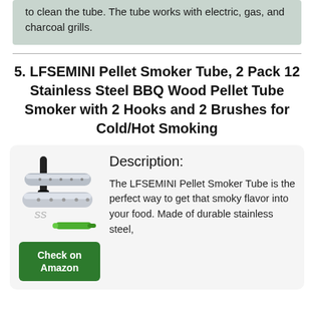to clean the tube. The tube works with electric, gas, and charcoal grills.
5. LFSEMINI Pellet Smoker Tube, 2 Pack 12 Stainless Steel BBQ Wood Pellet Tube Smoker with 2 Hooks and 2 Brushes for Cold/Hot Smoking
[Figure (photo): Product photo showing stainless steel pellet smoker tubes, a black cleaning brush, and a green silicone brush, with 'SS' text visible on packaging.]
Check on Amazon
Description:
The LFSEMINI Pellet Smoker Tube is the perfect way to get that smoky flavor into your food. Made of durable stainless steel,